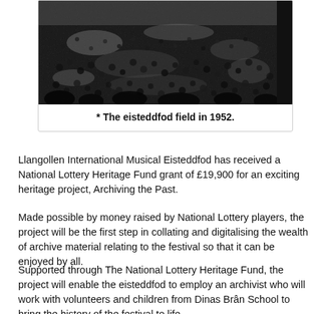[Figure (photo): Black and white aerial photograph of a large crowd gathered at the eisteddfod field in 1952]
* The eisteddfod field in 1952.
Llangollen International Musical Eisteddfod has received a National Lottery Heritage Fund grant of £19,900 for an exciting heritage project, Archiving the Past.
Made possible by money raised by National Lottery players, the project will be the first step in collating and digitalising the wealth of archive material relating to the festival so that it can be enjoyed by all.
Supported through The National Lottery Heritage Fund, the project will enable the eisteddfod to employ an archivist who will work with volunteers and children from Dinas Brân School to bring the history of the festival to life.